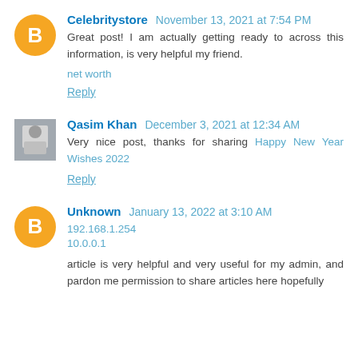Celebritystore November 13, 2021 at 7:54 PM
Great post! I am actually getting ready to across this information, is very helpful my friend.
net worth
Reply
Qasim Khan December 3, 2021 at 12:34 AM
Very nice post, thanks for sharing Happy New Year Wishes 2022
Reply
Unknown January 13, 2022 at 3:10 AM
192.168.1.254
10.0.0.1
article is very helpful and very useful for my admin, and pardon me permission to share articles here hopefully